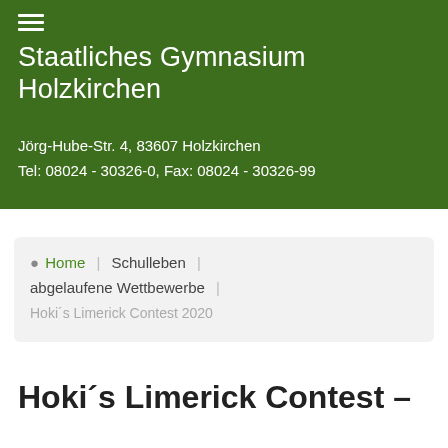Staatliches Gymnasium Holzkirchen
Jörg-Hube-Str. 4, 83607 Holzkirchen
Tel: 08024 - 30326-0, Fax: 08024 - 30326-99
Home | Schulleben | abgelaufene Wettbewerbe | Hoki´s Limerick Contest 2020
Hoki´s Limerick Contest –